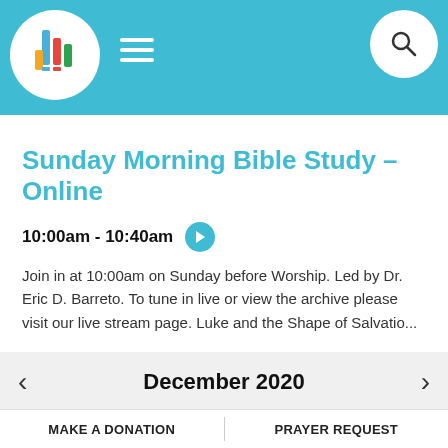Sunday Morning Bible Study - Online
Sunday Morning Bible Study - Online
10:00am - 10:40am
Join in at 10:00am on Sunday before Worship. Led by Dr. Eric D. Barreto. To tune in live or view the archive please visit our live stream page. Luke and the Shape of Salvatio...
December 2020
S M T W T F S
MAKE A DONATION | PRAYER REQUEST